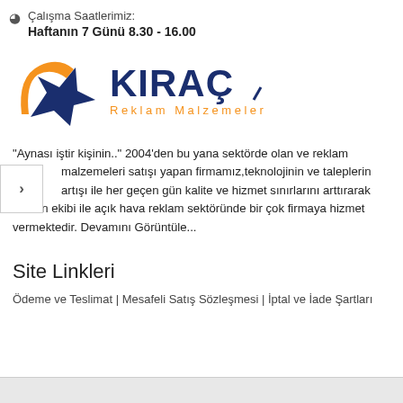Çalışma Saatlerimiz:
Haftanın 7 Günü 8.30 - 16.00
[Figure (logo): Kiraç Reklam Malzemeleri logo with orange and navy blue star/checkmark symbol and bold KIRAÇ text in navy blue with 'Reklam Malzemeleri' in orange below]
"Aynası iştir kişinin.." 2004'den bu yana sektörde olan ve reklam malzemeleri satışı yapan firmamız,teknolojinin ve taleplerin artışı ile her geçen gün kalite ve hizmet sınırlarını arttırarak uzman ekibi ile açık hava reklam sektöründe bir çok firmaya hizmet vermektedir. Devamını Görüntüle...
Site Linkleri
Ödeme ve Teslimat | Mesafeli Satış Sözleşmesi | İptal ve İade Şartları